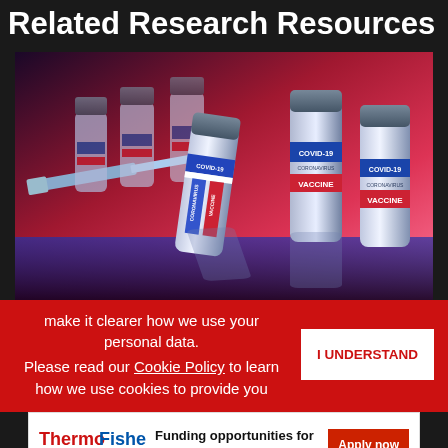Related Research Resources
[Figure (photo): Multiple COVID-19 vaccine vials with blue labels reading 'COVID-19', 'CORONAVIRUS', 'VACCINE' and red bands, arranged on a reflective surface with a syringe, pink/purple gradient background, studio shot.]
make it clearer how we use your personal data.
Please read our Cookie Policy to learn how we use cookies to provide you
I UNDERSTAND
Funding opportunities for crucial cancer research
Apply now
ADVERTISEMENT